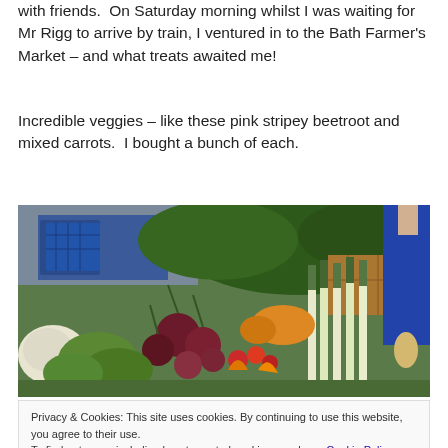with friends.  On Saturday morning whilst I was waiting for Mr Rigg to arrive by train, I ventured in to the Bath Farmer's Market – and what treats awaited me!
Incredible veggies – like these pink stripey beetroot and mixed carrots.  I bought a bunch of each.
[Figure (photo): A colourful farmers market stall displaying a variety of fresh vegetables including beetroot, carrots, leeks, cauliflower, greens, squash, and other produce. A person in a blue jacket is visible on the right.]
Privacy & Cookies: This site uses cookies. By continuing to use this website, you agree to their use.
To find out more, including how to control cookies, see here: Cookie Policy